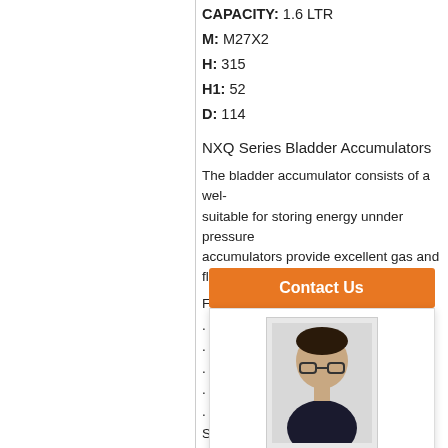CAPACITY: 1.6 LTR
M: M27X2
H: 315
H1: 52
D: 114
NXQ Series Bladder Accumulators
The bladder accumulator consists of a wel- suitable for storing energy unnder pressure accumulators provide excellent gas and flu-
Features:
. Operating Pressure: to 5000 PSI
. Size Capacities
. Highest Quali-
. ISO Certificat-
. Water/Chemic-
Steel Shell & P-
. CE & ASME M-
APPLICATIONS
Accumulator
consumption. (truncated)
[Figure (screenshot): Contact Us overlay with orange button, agent photo, welcome message and Steven Dai agent name]